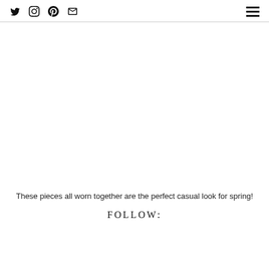Social icons: Twitter, Instagram, Pinterest, Email; Hamburger menu
[Figure (photo): Blank white image area representing a fashion photo of spring casual outfit pieces]
These pieces all worn together are the perfect casual look for spring!
FOLLOW: